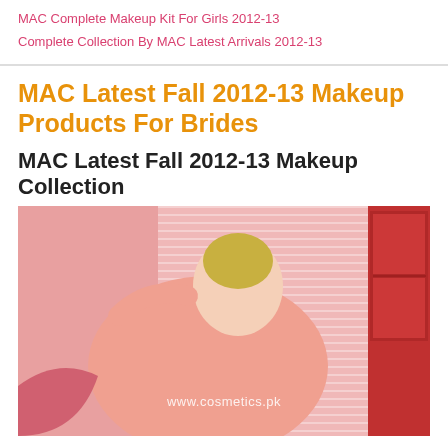MAC Complete Makeup Kit For Girls 2012-13
Complete Collection By MAC Latest Arrivals 2012-13
MAC Latest Fall 2012-13 Makeup Products For Brides
MAC Latest Fall 2012-13 Makeup Collection
[Figure (photo): A blonde woman in a pink outfit posing in a pink editorial setting with striped background elements. Watermark reads www.cosmetics.pk]